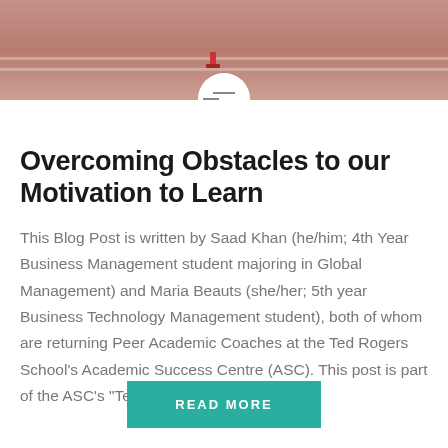[Figure (photo): A close-up photo of a running track surface with lane markings, warm pinkish-brown tones, with a starting block partially visible.]
Overcoming Obstacles to our Motivation to Learn
This Blog Post is written by Saad Khan (he/him; 4th Year Business Management student majoring in Global Management) and Maria Beauts (she/her; 5th year Business Technology Management student), both of whom are returning Peer Academic Coaches at the Ted Rogers School's Academic Success Centre (ASC). This post is part of the ASC's "Teach Yourself How...
READ MORE